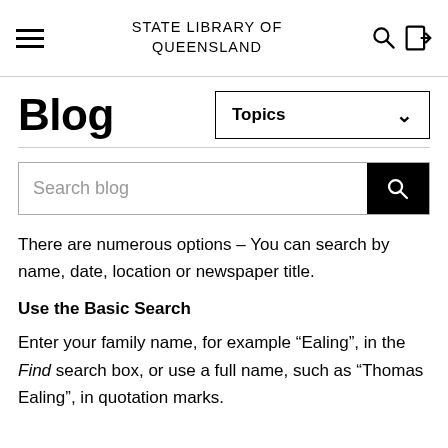STATE LIBRARY OF QUEENSLAND
Blog
[Figure (other): Topics dropdown selector button]
[Figure (other): Search blog input field with search button]
There are numerous options – You can search by name, date, location or newspaper title.
Use the Basic Search
Enter your family name, for example “Ealing”, in the Find search box, or use a full name, such as “Thomas Ealing”, in quotation marks.